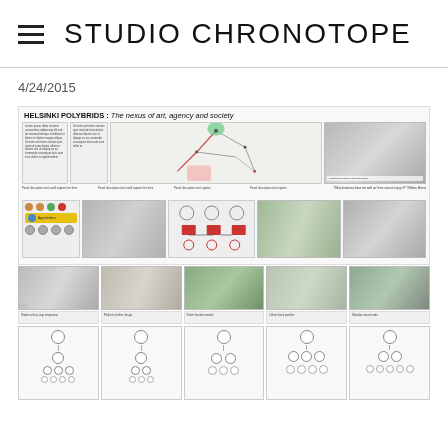STUDIO CHRONOTOPE
4/24/2015
[Figure (other): Architecture studio project boards for Helsinki Polybrids: The nexus of art, agency and society. Shows project text panels, a map diagram, architectural renderings, UI diagrams with colored dots and yellow bar, and quote: 'What business have we with art if we cannot enjoy it?' William Morris. Below are rows of architectural renders of bus stop/kiosk structures with accompanying bubble diagram pages.]